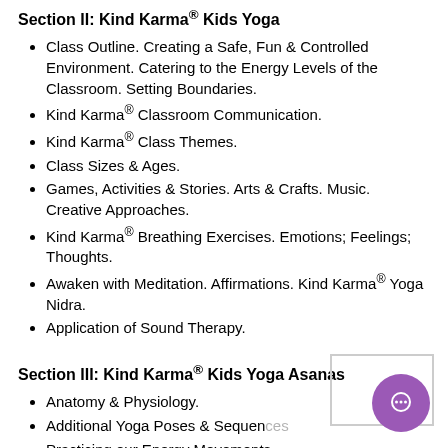Section II: Kind Karma® Kids Yoga
Class Outline. Creating a Safe, Fun & Controlled Environment. Catering to the Energy Levels of the Classroom. Setting Boundaries.
Kind Karma® Classroom Communication.
Kind Karma® Class Themes.
Class Sizes & Ages.
Games, Activities & Stories. Arts & Crafts. Music. Creative Approaches.
Kind Karma® Breathing Exercises. Emotions; Feelings; Thoughts.
Awaken with Meditation. Affirmations. Kind Karma® Yoga Nidra.
Application of Sound Therapy.
Section III: Kind Karma® Kids Yoga Asanas
Anatomy & Physiology.
Additional Yoga Poses & Sequences
Practicing our Energy Movements.
Releasing; Cultivating; Channeling